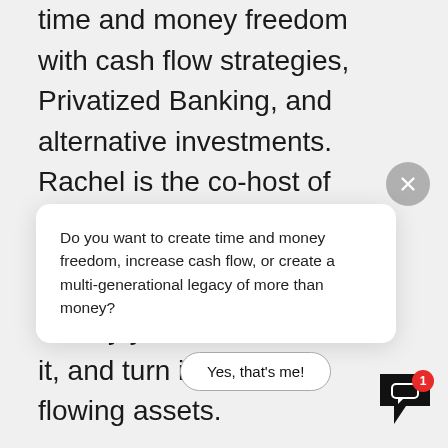time and money freedom with cash flow strategies, Privatized Banking, and alternative investments. Rachel is the co-host of The Money Advantage
[Figure (screenshot): Chat popup overlay asking: Do you want to create time and money freedom, increase cash flow, or create a multi-generational legacy of more than money? With a 'Yes, that's me!' button.]
money you m... it, and turn it into cash-flowing assets.